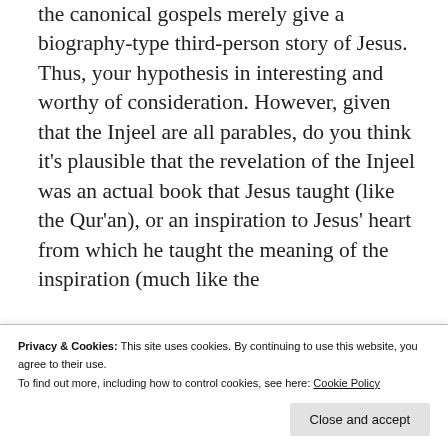the canonical gospels merely give a biography-type third-person story of Jesus. Thus, your hypothesis in interesting and worthy of consideration. However, given that the Injeel are all parables, do you think it's plausible that the revelation of the Injeel was an actual book that Jesus taught (like the Qur'an), or an inspiration to Jesus' heart from which he taught the meaning of the inspiration (much like the
Privacy & Cookies: This site uses cookies. By continuing to use this website, you agree to their use.
To find out more, including how to control cookies, see here: Cookie Policy
accept the latter, it would seem as